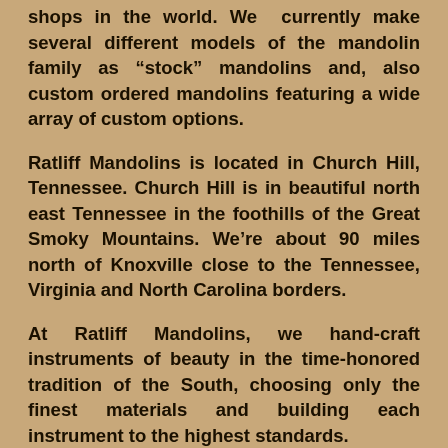shops in the world. We currently make several different models of the mandolin family as “stock” mandolins and, also custom ordered mandolins featuring a wide array of custom options.
Ratliff Mandolins is located in Church Hill, Tennessee. Church Hill is in beautiful north east Tennessee in the foothills of the Great Smoky Mountains. We’re about 90 miles north of Knoxville close to the Tennessee, Virginia and North Carolina borders.
At Ratliff Mandolins, we hand-craft instruments of beauty in the time-honored tradition of the South, choosing only the finest materials and building each instrument to the highest standards.
We’re a small shop, building only a limited number of instruments each year. Our instruments are available directly from Ratliff Mandolins or any of our dealers (see